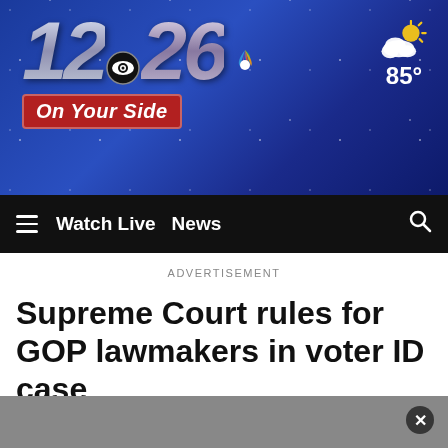[Figure (logo): 12/26 CBS/NBC On Your Side TV station logo with weather showing partly cloudy and 85 degrees]
≡  Watch Live  News
ADVERTISEMENT
Supreme Court rules for GOP lawmakers in voter ID case